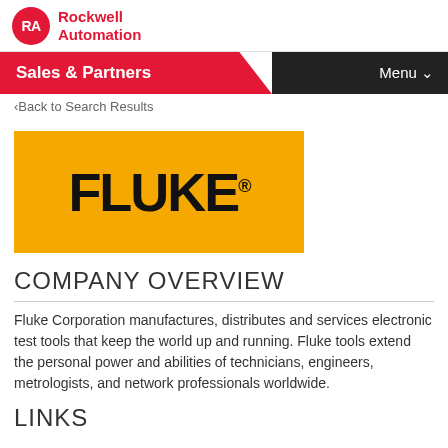Rockwell Automation
Sales & Partners
Menu ∨
‹Back to Search Results
[Figure (logo): Fluke logo: bold black FLUKE. text on yellow/orange background]
COMPANY OVERVIEW
Fluke Corporation manufactures, distributes and services electronic test tools that keep the world up and running. Fluke tools extend the personal power and abilities of technicians, engineers, metrologists, and network professionals worldwide.
LINKS